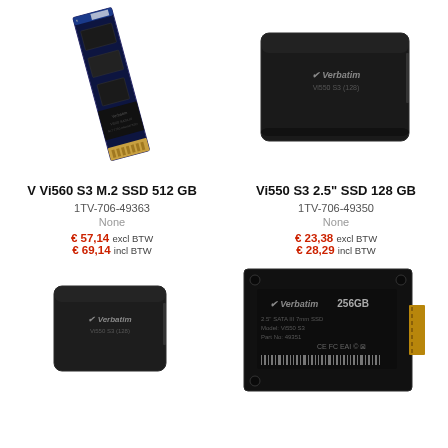[Figure (photo): M.2 SSD stick (Verbatim Vi560 S3, 512GB) shown at an angle on white background]
[Figure (photo): 2.5 inch SSD (Verbatim Vi550 S3, 128GB) shown on white background]
V Vi560 S3 M.2 SSD 512 GB
Vi550 S3 2.5" SSD 128 GB
1TV-706-49363
1TV-706-49350
None
None
€ 57,14 excl BTW
€ 23,38 excl BTW
€ 69,14 incl BTW
€ 28,29 incl BTW
[Figure (photo): 2.5 inch SSD (Verbatim Vi550 S3) smaller unit shown on white background]
[Figure (photo): 2.5 inch SSD (Verbatim Vi550 S3, 256GB) shown with label detail including specs and barcode]